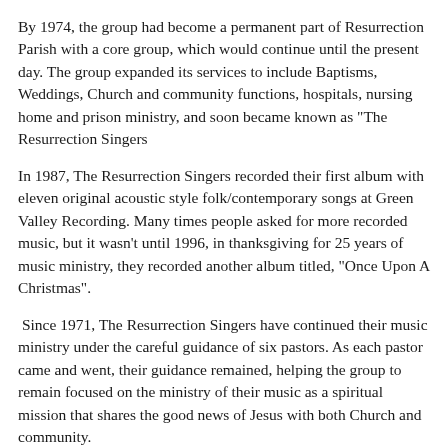By 1974, the group had become a permanent part of Resurrection Parish with a core group, which would continue until the present day. The group expanded its services to include Baptisms, Weddings, Church and community functions, hospitals, nursing home and prison ministry, and soon became known as "The Resurrection Singers
In 1987, The Resurrection Singers recorded their first album with eleven original acoustic style folk/contemporary songs at Green Valley Recording. Many times people asked for more recorded music, but it wasn't until 1996, in thanksgiving for 25 years of music ministry, they recorded another album titled, "Once Upon A Christmas".
Since 1971, The Resurrection Singers have continued their music ministry under the careful guidance of six pastors. As each pastor came and went, their guidance remained, helping the group to remain focused on the ministry of their music as a spiritual mission that shares the good news of Jesus with both Church and community.
Their future goal is to follow the Holy Spirit and with an open mind go where the Lord leads them-sometimes to help others-sometimes to help each other but always sharing the power of God's Love and their love of music as they serve both their Church and their community.